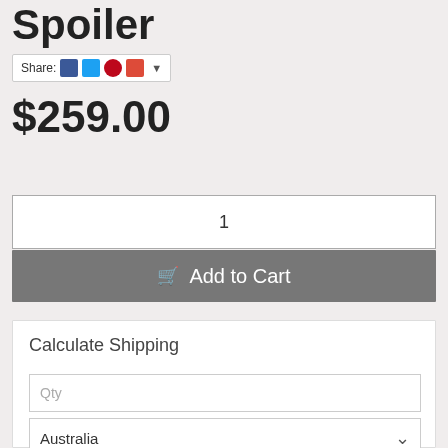Spoiler
Share: [Facebook] [Twitter] [Pinterest] [Google+] ▼
$259.00
1
🛒 Add to Cart
Calculate Shipping
Qty
Australia ▾